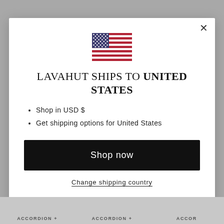[Figure (illustration): US flag emoji/illustration at top of modal]
LAVAHUT SHIPS TO UNITED STATES
Shop in USD $
Get shipping options for United States
Shop now
Change shipping country
ACCORDION + ACCORDION + ACCOR